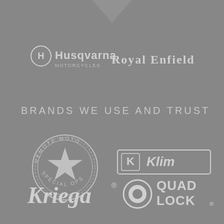[Figure (logo): Partial downward-pointing chevron/arrow shape at top center, light gray on gray background]
[Figure (logo): Husqvarna Motorcycles logo - circular H icon with Husqvarna wordmark in white]
[Figure (logo): Royal Enfield logo in white serif text]
BRANDS WE USE AND TRUST
[Figure (logo): Remote Moto Special Ops circular badge logo with star in center]
[Figure (logo): Klim logo in white with rectangular border]
[Figure (logo): Kriega logo in white italic script with registered trademark]
[Figure (logo): Quad Lock logo with circular icon and bold white text]